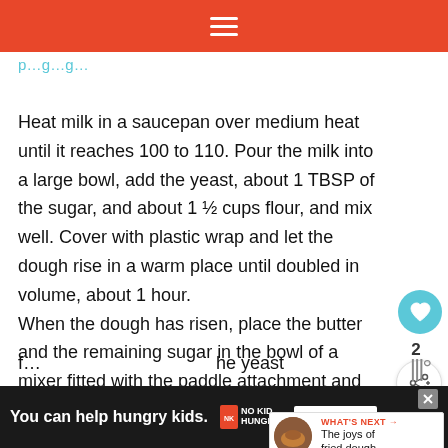≡
p…g…g…
Heat milk in a saucepan over medium heat until it reaches 100 to 110. Pour the milk into a large bowl, add the yeast, about 1 TBSP of the sugar, and about 1 ½ cups flour, and mix well. Cover with plastic wrap and let the dough rise in a warm place until doubled in volume, about 1 hour.
When the dough has risen, place the butter and the remaining sugar in the bowl of a mixer fitted with the paddle attachment and beat on high speed, down the sides of the bowl occasionally, until light and
f…he yeast Add the
[Figure (other): Heart/love button icon teal circle with heart symbol showing count 2, and a share button below]
[Figure (other): WHAT'S NEXT arrow label with fried dough thumbnail — The joys of fried dough....]
You can help hungry kids. NO KID HUNGRY LEARN HOW